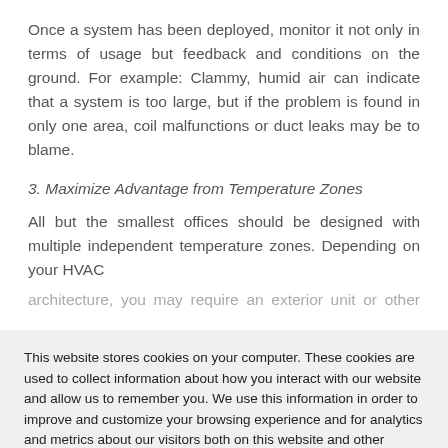Once a system has been deployed, monitor it not only in terms of usage but feedback and conditions on the ground. For example: Clammy, humid air can indicate that a system is too large, but if the problem is found in only one area, coil malfunctions or duct leaks may be to blame.
3. Maximize Advantage from Temperature Zones
All but the smallest offices should be designed with multiple independent temperature zones. Depending on your HVAC architecture, you may require an exterior unit or other equipment...
This website stores cookies on your computer. These cookies are used to collect information about how you interact with our website and allow us to remember you. We use this information in order to improve and customize your browsing experience and for analytics and metrics about our visitors both on this website and other media. To find out more about the cookies we use, see our Privacy Policy.